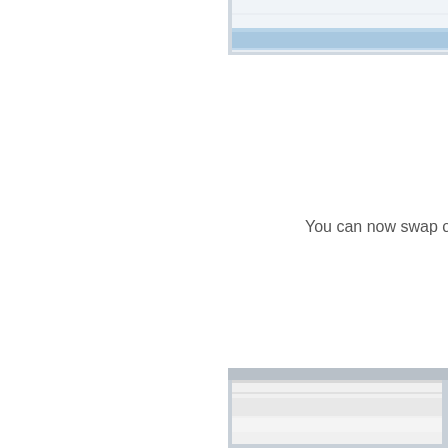[Figure (screenshot): Top portion of a UI screenshot showing a dialog or input box with a blue/light-blue header bar, cropped at the top-right of the page]
You can now swap out t
💡 Tip:  You can right-c provides an example:
Img 1 of 2 – Right-clickin
[Figure (screenshot): Bottom portion of a UI screenshot showing a dialog or panel with gray/white horizontal lines, cropped at the bottom-right of the page]